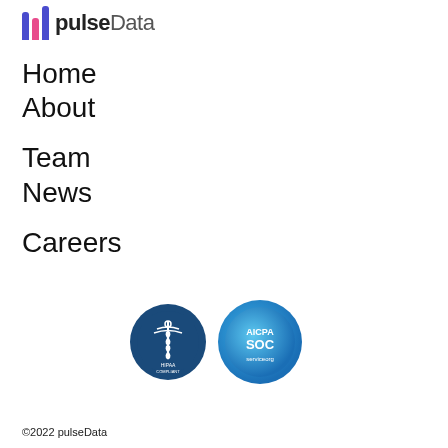[Figure (logo): pulseData logo with colored bar chart icon and wordmark]
Home
About
Team
News
Careers
[Figure (illustration): Two circular compliance badges: HIPAA Compliant and AICPA SOC]
©2022 pulseData